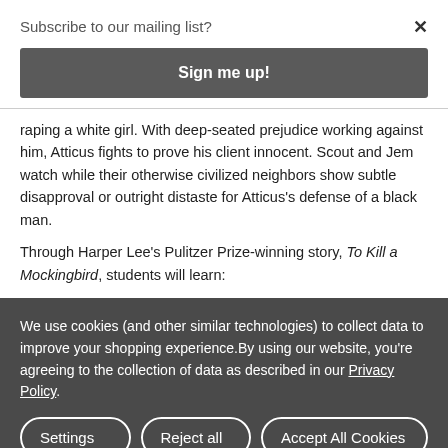Subscribe to our mailing list?
×
Sign me up!
raping a white girl. With deep-seated prejudice working against him, Atticus fights to prove his client innocent. Scout and Jem watch while their otherwise civilized neighbors show subtle disapproval or outright distaste for Atticus's defense of a black man.
Through Harper Lee's Pulitzer Prize-winning story, To Kill a Mockingbird, students will learn:
We use cookies (and other similar technologies) to collect data to improve your shopping experience.By using our website, you're agreeing to the collection of data as described in our Privacy Policy.
Settings
Reject all
Accept All Cookies